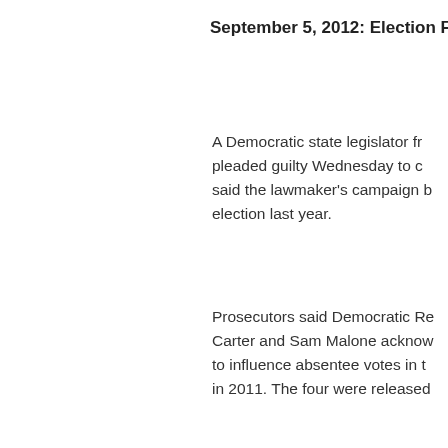September 5, 2012: Election F
A Democratic state legislator fr pleaded guilty Wednesday to c said the lawmaker's campaign b election last year.
Prosecutors said Democratic Re Carter and Sam Malone acknow to influence absentee votes in t in 2011. The four were released